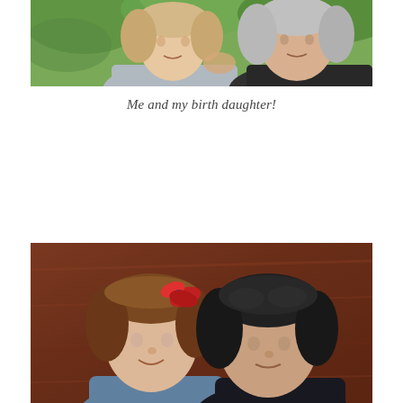[Figure (photo): Two women photographed together outdoors, one with light/grey hair and one with darker hair, against a background of green foliage. The woman on the right is wearing a grey knit top.]
Me and my birth daughter!
[Figure (photo): Two young children (a girl with a red bow/clip in her hair and a boy with dark hair) leaning together, photographed indoors against a warm brown wooden background.]